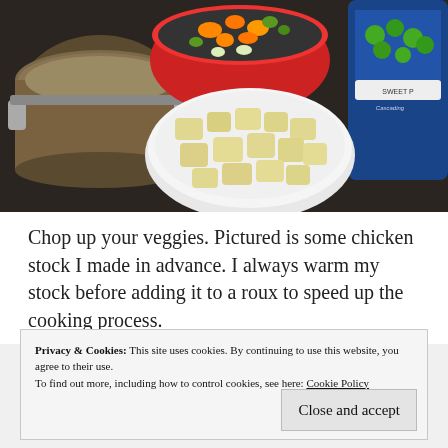[Figure (photo): Kitchen counter with ingredients: a pot of chicken stock on the left, a red bowl of mixed vegetables (carrots, celery, peas), a white plate with chopped potatoes in the center, and a bag of frozen sweet peas on the right.]
Chop up your veggies. Pictured is some chicken stock I made in advance. I always warm my stock before adding it to a roux to speed up the cooking process.
Privacy & Cookies: This site uses cookies. By continuing to use this website, you agree to their use.
To find out more, including how to control cookies, see here: Cookie Policy